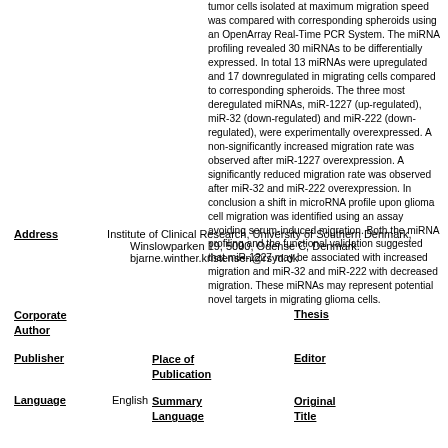tumor cells isolated at maximum migration speed was compared with corresponding spheroids using an OpenArray Real-Time PCR System. The miRNA profiling revealed 30 miRNAs to be differentially expressed. In total 13 miRNAs were upregulated and 17 downregulated in migrating cells compared to corresponding spheroids. The three most deregulated miRNAs, miR-1227 (up-regulated), miR-32 (down-regulated) and miR-222 (down-regulated), were experimentally overexpressed. A non-significantly increased migration rate was observed after miR-1227 overexpression. A significantly reduced migration rate was observed after miR-32 and miR-222 overexpression. In conclusion a shift in microRNA profile upon glioma cell migration was identified using an assay avoiding serum-induced migration. Both the miRNA profiling and the functional validation suggested that miR-1227 may be associated with increased migration and miR-32 and miR-222 with decreased migration. These miRNAs may represent potential novel targets in migrating glioma cells.
Address: Institute of Clinical Research, University of Southern Denmark, Winslowparken 19, 5000, Odense C, Denmark. bjarne.winther.kristensen@rsyd.dk
Corporate Author
Thesis
Publisher
Place of Publication
Editor
Language
English
Summary Language
Original Title
Series Editor
Series Title
Abbreviated Series Title
Series Volume
Series Issue
Edition
ISSN
0167-594X
ISBN
Medium